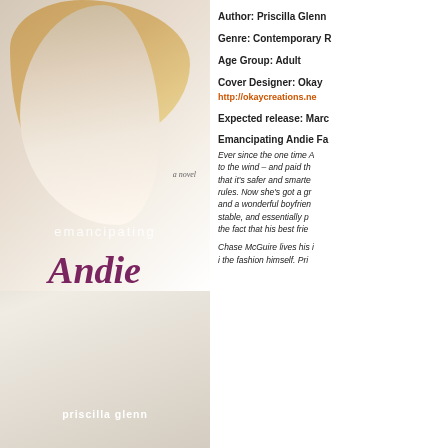[Figure (illustration): Book cover of 'Emancipating Andie' by Priscilla Glenn. Shows a blonde woman looking downward, wearing white. Title text in white (emancipating) and purple italic script (Andie). Author name at bottom. Subtitle 'a novel' in small italic text.]
Author: Priscilla Glenn
Genre: Contemporary R
Age Group: Adult
Cover Designer: Okay
http://okaycreations.ne
Expected release: Marc
Emancipating Andie Fa
Ever since the one time A to the wind – and paid th that it's safer and smarte rules. Now she's got a gr and a wonderful boyfrien stable, and essentially p the fact that his best frie
Chase McGuire lives his i the fashion himself. Pri